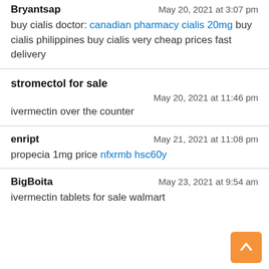Bryantsap — May 20, 2021 at 3:07 pm — buy cialis doctor: canadian pharmacy cialis 20mg buy cialis philippines buy cialis very cheap prices fast delivery
stromectol for sale — May 20, 2021 at 11:46 pm — ivermectin over the counter
enript — May 21, 2021 at 11:08 pm — propecia 1mg price nfxrmb hsc60y
BigBoita — May 23, 2021 at 9:54 am — ivermectin tablets for sale walmart